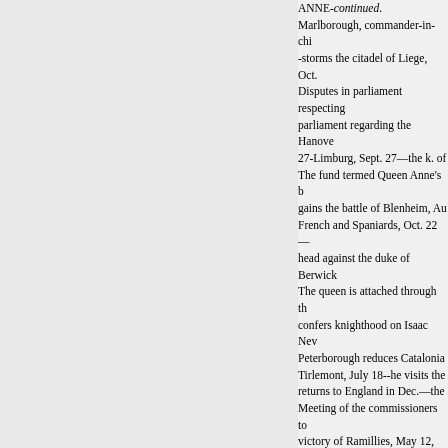ANNE-continued.
Marlborough, commander-in-chi -storms the citadel of Liege, Oct.
Disputes in parliament respecting parliament regarding the Hanove 27-Limburg, Sept. 27—the k. of
The fund termed Queen Anne's b gains the battle of Blenheim, Au French and Spaniards, Oct. 22— head against the duke of Berwick
The queen is attached through th confers knighthood on Isaac Nev Peterborough reduces Catalonia Tirlemont, July 18--he visits the returns to England in Dec.—the
Meeting of the commissioners to victory of Ramillies, May 12, 0.s recovered by Philip V., Aug. 5 - Masham begins to obtain the que
The allies, under the earl of Galv Peterborough soon after withdra